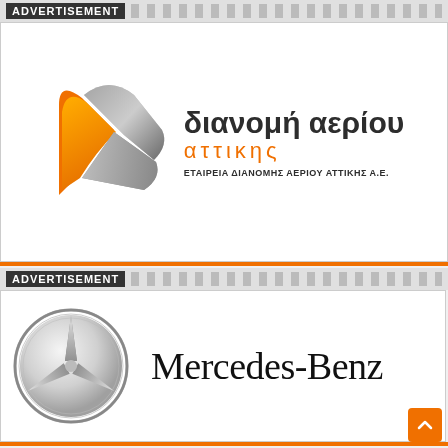ADVERTISEMENT
[Figure (logo): Dianomi Aeriou Attikis logo with orange and grey triangle shape, text: διανομή αερίου αττικης, ΕΤΑΙΡΕΙΑ ΔΙΑΝΟΜΗΣ ΑΕΡΙΟΥ ΑΤΤΙΚΗΣ Α.Ε.]
ADVERTISEMENT
[Figure (logo): Mercedes-Benz logo with three-pointed star in circle and text Mercedes-Benz]